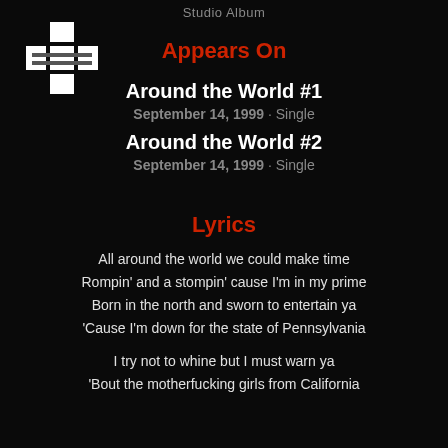Studio Album
[Figure (logo): White cross/asterisk logo (punk/rock band logo)]
Appears On
Around the World #1
September 14, 1999 · Single
Around the World #2
September 14, 1999 · Single
Lyrics
All around the world we could make time
Rompin' and a stompin' cause I'm in my prime
Born in the north and sworn to entertain ya
'Cause I'm down for the state of Pennsylvania
I try not to whine but I must warn ya
'Bout the motherfucking girls from California